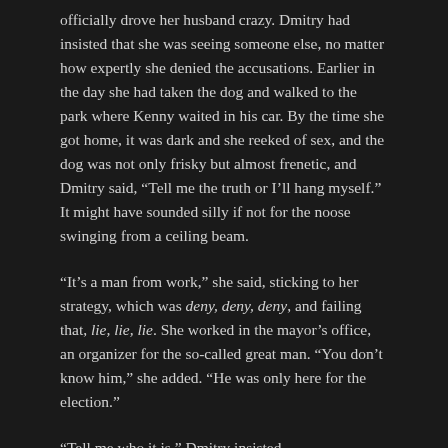officially drove her husband crazy. Dmitry had insisted that she was seeing someone else, no matter how expertly she denied the accusations. Earlier in the day she had taken the dog and walked to the park where Kenny waited in his car. By the time she got home, it was dark and she reeked of sex, and the dog was not only frisky but almost frenetic, and Dmitry said, “Tell me the truth or I’ll hang myself.” It might have sounded silly if not for the noose swinging from a ceiling beam.
“It’s a man from work,” she said, sticking to her strategy, which was deny, deny, deny, and failing that, lie, lie, lie. She worked in the mayor’s office, an organizer for the so-called great man. “You don’t know him,” she added. “He was only here for the election.”
“Tell me who it is,” Dmitry insisted.
She named a man she hardly knew, a consultant who had returned to Topeka, a person Dmitry would never see again. “Now take that down.” She indicated the